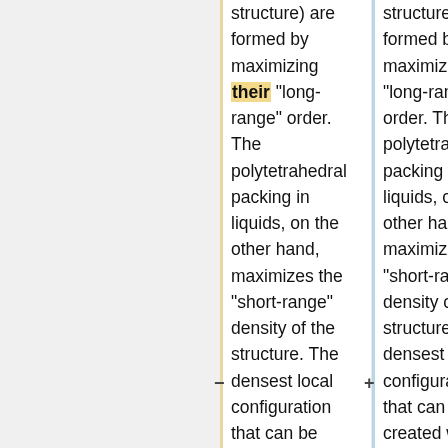structure) are formed by maximizing their "long-range" order. The polytetrahedral packing in liquids, on the other hand, maximizes the "short-range" density of the structure. The densest local configuration that can be created with hard spheres is a tetrahedron. Five tetrahedra can be packed around a common edge,
structure) are formed by maximizing "long-range" order. The polytetrahedral packing in liquids, on the other hand, maximizes the "short-range" density of the structure. The densest local configuration that can be created with hard spheres is a tetrahedron. Five tetrahedra can be packed around a common edge,